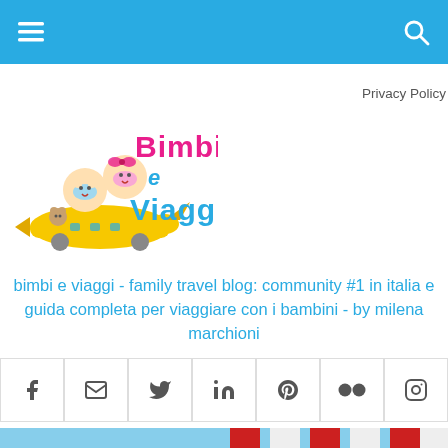Navigation bar with hamburger menu and search icon
[Figure (logo): Bimbi e Viaggi logo: cartoon babies riding a yellow airplane with colorful text]
Privacy Policy
bimbi e viaggi - family travel blog: community #1 in italia e guida completa per viaggiare con i bambini - by milena marchioni
[Figure (infographic): Social media icons row: Facebook, Email/envelope, Twitter, LinkedIn, Pinterest, Flickr, Instagram]
[Figure (photo): Bottom photo showing red and white striped fabric (American flag) against blue sky]